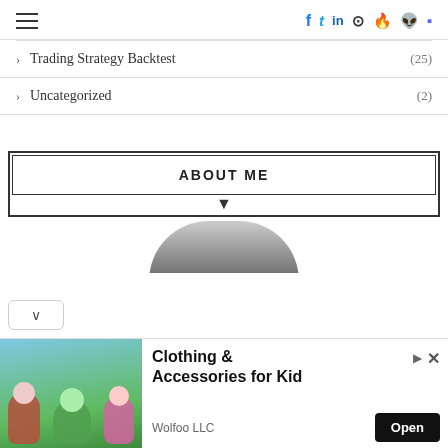Navigation header with hamburger menu and social icons: Facebook, Twitter, LinkedIn, GitHub, Stack Overflow, Reddit, Discord
> Trading Strategy Backtest (25)
> Uncategorized (2)
ABOUT ME
[Figure (photo): Circular profile photo partially visible at the bottom of the about me section]
[Figure (illustration): Advertisement banner: Clothing & Accessories for Kid - Wolfoo LLC, with cartoon animal characters on a green/blue background and an Open button]